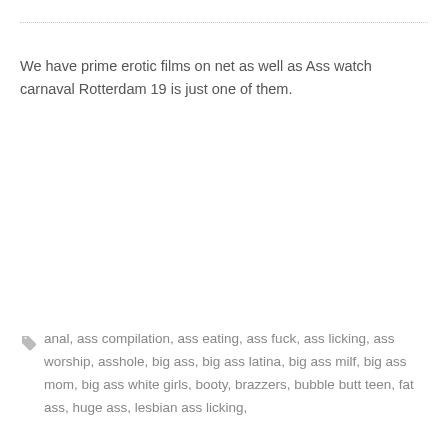We have prime erotic films on net as well as Ass watch carnaval Rotterdam 19 is just one of them.
anal, ass compilation, ass eating, ass fuck, ass licking, ass worship, asshole, big ass, big ass latina, big ass milf, big ass mom, big ass white girls, booty, brazzers, bubble butt teen, fat ass, huge ass, lesbian ass licking,